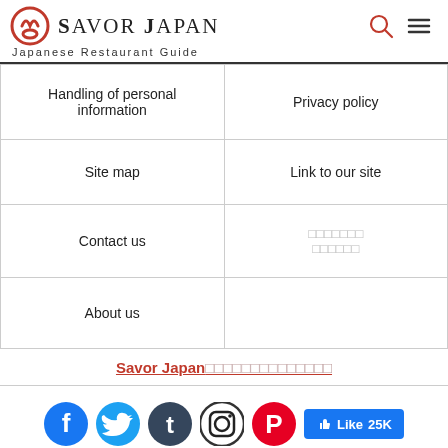Savor Japan — Japanese Restaurant Guide
|  |  |
| --- | --- |
| Handling of personal information | Privacy policy |
| Site map | Link to our site |
| Contact us | □□□□□□□
□□□□□□ |
| About us |  |
Savor Japan□□□□□□□□□□□□□□
[Figure (infographic): Social media icons: Facebook, Twitter, Tumblr, Instagram, Pinterest, and Facebook Like button showing 25K]
[Figure (infographic): Bottom navigation buttons: LIST and MAP toggle button]